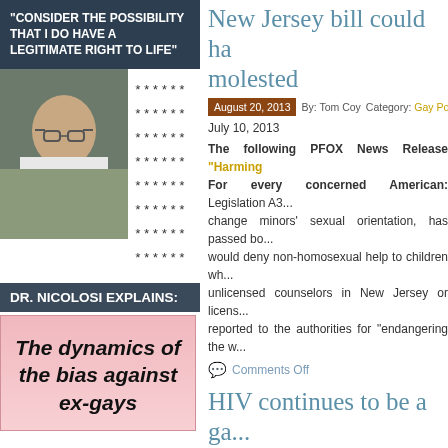"CONSIDER THE POSSIBILITY THAT I DO HAVE A LEGITIMATE RIGHT TO LIFE"
[Figure (photo): Photo of a young man with glasses outdoors, next to a column of asterisks (******)]
DR. NICOLOSI EXPLAINS:
The dynamics of the bias against ex-gays
New Jersey bill could ha... molested
August 20, 2013  By: Tom Coy  Category: Gay Poli...
July 10, 2013
The following PFOX News Release "Harming... For every concerned American: Legislation A3... change minors' sexual orientation, has passed bo... would deny non-homosexual help to children wh... unlicensed counselors in New Jersey or licens... reported to the authorities for "endangering the w...
Comments Off
HIV continues to be a ga...
August 20, 2013  By: Tom Coy  Category: Clinical...
July 8, 2013
The following excerpts are from the article... Thaddeus Baklinski on the LifeSiteNews.com:... for Disease Control (CDC) warns that HIV rate... steadily among men who have sex with men (M... HIV/AIDS epidemic," says Jonathan Mermin, the...